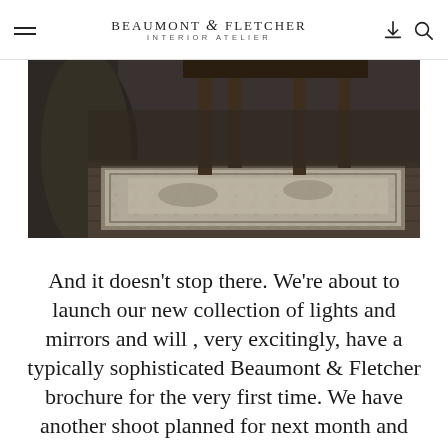BEAUMONT & FLETCHER INTERIOR ATELIER
[Figure (photo): Overhead/angled view of a vintage-style distressed grey rug on a wooden floor with furniture legs visible in the background]
And it doesn't stop there. We're about to launch our new collection of lights and mirrors and will , very excitingly, have a typically sophisticated Beaumont & Fletcher brochure for the very first time. We have another shoot planned for next month and can't wait to share